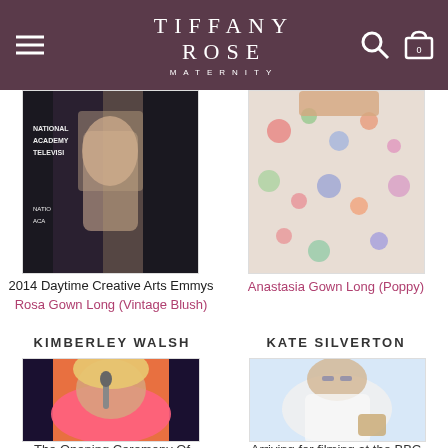TIFFANY ROSE MATERNITY
[Figure (photo): Partial photo of person in black dress at National Academy of Television Arts Emmy event]
2014 Daytime Creative Arts Emmys
Rosa Gown Long (Vintage Blush)
[Figure (photo): Partial photo showing colorful floral dress]
Anastasia Gown Long (Poppy)
KIMBERLEY WALSH
KATE SILVERTON
[Figure (photo): Kimberley Walsh performing at The Opening Ceremony, wearing coral/pink lace dress, singing into microphone with blonde hair]
[Figure (photo): Kate Silverton arriving for filming at the BBC, wearing white lace maternity dress and white blazer with sunglasses]
The Opening Ceremony Of
Arriving for filming at the BBC